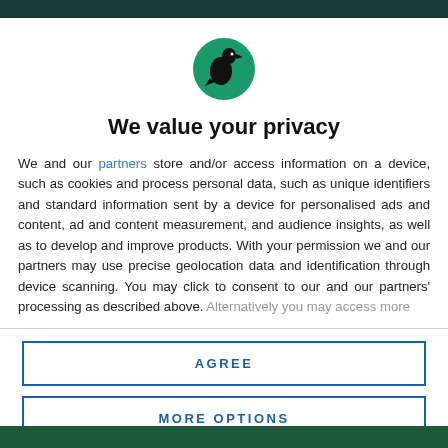[Figure (logo): Circular green logo with a black raven/bird silhouette profile facing right]
We value your privacy
We and our partners store and/or access information on a device, such as cookies and process personal data, such as unique identifiers and standard information sent by a device for personalised ads and content, ad and content measurement, and audience insights, as well as to develop and improve products. With your permission we and our partners may use precise geolocation data and identification through device scanning. You may click to consent to our and our partners' processing as described above. Alternatively you may access more
AGREE
MORE OPTIONS